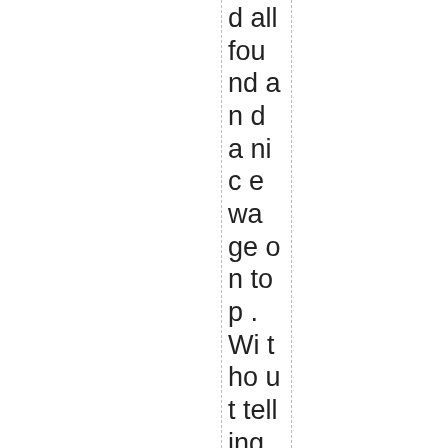d all found and a nice wage on top. Without telling anyone she allows herself to